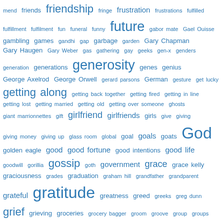[Figure (other): Tag cloud of words starting with 'f' and 'g', displayed in varying font sizes in blue, including terms like friendship, frustration, future, generosity, getting along, girlfriend, God, gossip, gratitude, grief, growth, etc.]